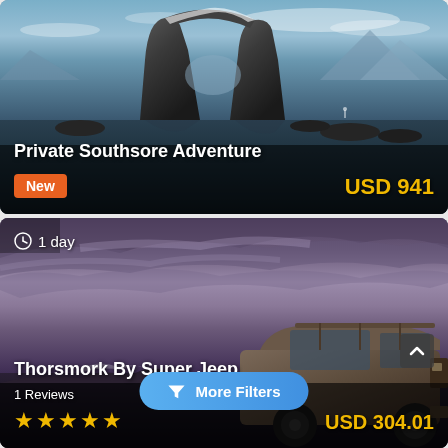[Figure (photo): Iceland rock arch formation reflecting in water, dramatic dark landscape with mountains in background. Title: Private Southsore Adventure. Badge: New. Price: USD 941.]
Private Southsore Adventure
New
USD 941
[Figure (photo): Thorsmork by Super Jeep tour - purple/dark dramatic sky with clouds, large 4x4 super jeep on rocky terrain. Shows 1 day duration, 1 Reviews, 5-star rating, USD 304.01. More Filters button overlay.]
1 day
Thorsmork By Super Jeep
1 Reviews
★★★★★
USD 304.01
More Filters